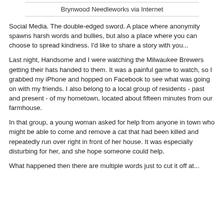Brynwood Needleworks via Internet
Social Media. The double-edged sword. A place where anonymity spawns harsh words and bullies, but also a place where you can choose to spread kindness. I'd like to share a story with you...
Last night, Handsome and I were watching the Milwaukee Brewers getting their hats handed to them. It was a painful game to watch, so I grabbed my iPhone and hopped on Facebook to see what was going on with my friends. I also belong to a local group of residents - past and present - of my hometown, located about fifteen minutes from our farmhouse.
In that group, a young woman asked for help from anyone in town who might be able to come and remove a cat that had been killed and repeatedly run over right in front of her house. It was especially disturbing for her, and she hope someone could help.
What happened then there are multiple words just to cut it off at...